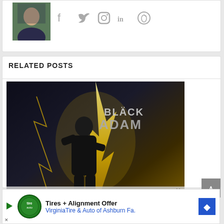[Figure (photo): Profile photo of a person in a dark t-shirt outdoors]
[Figure (infographic): Social media icons: Facebook, Twitter, Instagram, LinkedIn, Spotify]
RELATED POSTS
[Figure (photo): Black Adam movie promotional image showing a figure with lightning and the text BLACK ADAM. Overlay text reads: No compatible source was found for this media.]
Tires + Alignment Offer
VirginiaTire & Auto of Ashburn Fa.